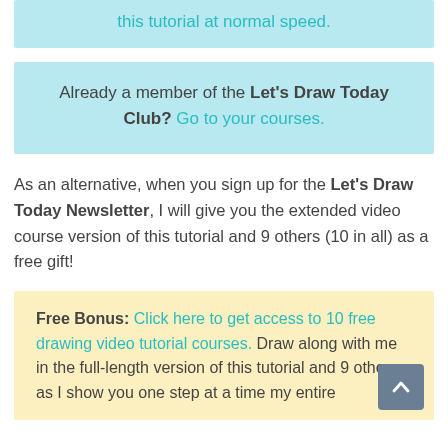this tutorial at normal speed.
Already a member of the Let's Draw Today Club? Go to your courses.
As an alternative, when you sign up for the Let's Draw Today Newsletter, I will give you the extended video course version of this tutorial and 9 others (10 in all) as a free gift!
Free Bonus: Click here to get access to 10 free drawing video tutorial courses. Draw along with me in the full-length version of this tutorial and 9 others as I show you one step at a time my entire